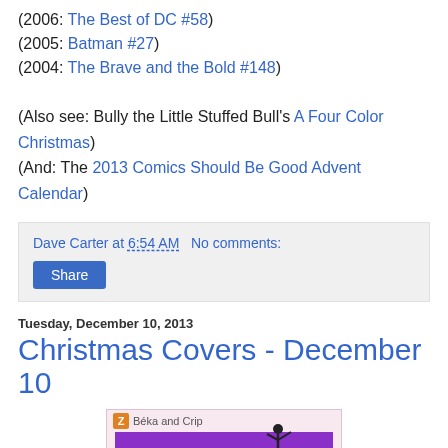(2006: The Best of DC #58)
(2005: Batman #27)
(2004: The Brave and the Bold #148)
(Also see: Bully the Little Stuffed Bull's A Four Color Christmas)
(And: The 2013 Comics Should Be Good Advent Calendar)
Dave Carter at 6:54 AM   No comments:
Share
Tuesday, December 10, 2013
Christmas Covers - December 10
[Figure (illustration): Book cover image for 'Dance Class' by Beka and Crip, showing a purple banner with white text 'Dance Class' and a silhouette of a dancer, on a pink/light background with a Z logo.]